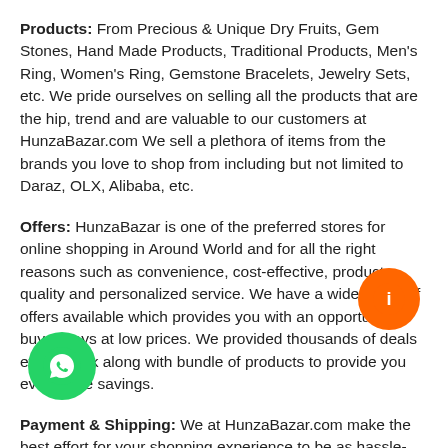Products: From Precious & Unique Dry Fruits, Gem Stones, Hand Made Products, Traditional Products, Men's Ring, Women's Ring, Gemstone Bracelets, Jewelry Sets, etc. We pride ourselves on selling all the products that are the hip, trend and are valuable to our customers at HunzaBazar.com We sell a plethora of items from the brands you love to shop from including but not limited to Daraz, OLX, Alibaba, etc.
Offers: HunzaBazar is one of the preferred stores for online shopping in Around World and for all the right reasons such as convenience, cost-effective, product quality and personalized service. We have a wide range of offers available which provides you with an opportunity to buy always at low prices. We provided thousands of deals every week along with bundle of products to provide you even more savings.
Payment & Shipping: We at HunzaBazar.com make the best effort for your shopping experience to be as hassle-free and smooth as possible. We provide you multiple payment methods including cash on delivery, JAZZ Cash, Easy Paisa and online payments. We also run our own logistics to make sure your purchased item(s) reaches you as quick as possible in the best possible condition.